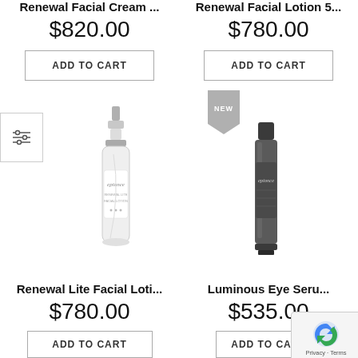Renewal Facial Cream ...
$820.00
ADD TO CART
Renewal Facial Lotion 5...
$780.00
ADD TO CART
[Figure (photo): Renewal Lite Facial Lotion product bottle - white pump bottle with silver cap and epionce branding]
[Figure (photo): Luminous Eye Serum product - dark gray tube with epionce branding and NEW badge above]
Renewal Lite Facial Loti...
$780.00
ADD TO CART
Luminous Eye Seru...
$535.00
ADD TO CART